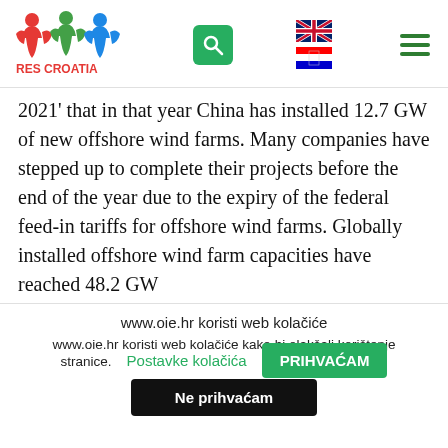[Figure (logo): RES Croatia logo — three puzzle-piece figures in red, green, blue with text RES CROATIA below]
2021' that in that year China has installed 12.7 GW of new offshore wind farms. Many companies have stepped up to complete their projects before the end of the year due to the expiry of the federal feed-in tariffs for offshore wind farms. Globally installed offshore wind farm capacities have reached 48.2 GW
www.oie.hr koristi web kolačiće
www.oie.hr koristi web kolačiće kako bi olakšali korištenje stranice.
Postavke kolačića
PRIHVAĆAM
Ne prihvaćam